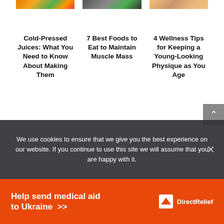[Figure (photo): Partial top of three article thumbnail images: colorful juices, sports/food, and a person's face]
Cold-Pressed Juices: What You Need to Know About Making Them
7 Best Foods to Eat to Maintain Muscle Mass
4 Wellness Tips for Keeping a Young-Looking Physique as You Age
We use cookies to ensure that we give you the best experience on our website. If you continue to use this site we will assume that you are happy with it.
Help send medical aid to Ukraine >>  DirectRelief